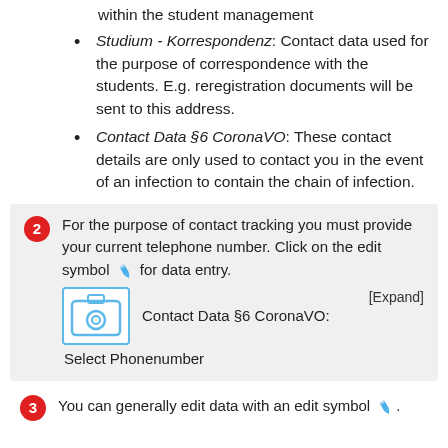within the student management
Studium - Korrespondenz: Contact data used for the purpose of correspondence with the students. E.g. reregistration documents will be sent to this address.
Contact Data §6 CoronaVO: These contact details are only used to contact you in the event of an infection to contain the chain of infection.
For the purpose of contact tracking you must provide your current telephone number. Click on the edit symbol for data entry. [Expand] Contact Data §6 CoronaVO: Select Phonenumber
You can generally edit data with an edit symbol.